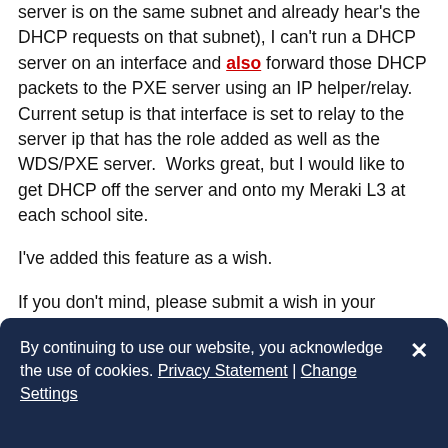server is on the same subnet and already hear's the DHCP requests on that subnet), I can't run a DHCP server on an interface and also forward those DHCP packets to the PXE server using an IP helper/relay. Current setup is that interface is set to relay to the server ip that has the role added as well as the WDS/PXE server.  Works great, but I would like to get DHCP off the server and onto my Meraki L3 at each school site.

I've added this feature as a wish.

If you don't mind, please submit a wish in your dashboard for the ability to add a DHCP server to an interface, but also forward those DHCP packets to another server using an IP helper/relay for the main purpose of PXE booting images across the WAN to a
By continuing to use our website, you acknowledge the use of cookies. Privacy Statement | Change Settings